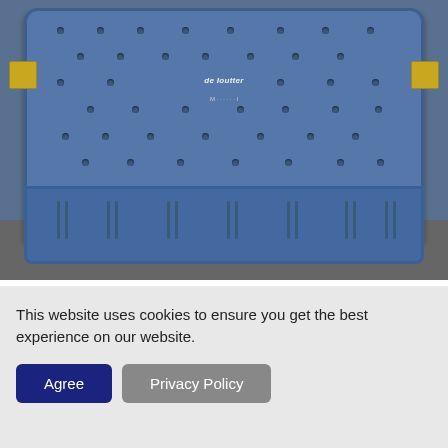[Figure (photo): Blue Desoutter surgical instrument sterilization case with perforated lid, gold-colored latches on both sides, and ventilated sides, photographed on a gray surface.]
DESOUTTER SURGICAL INSTRUMENT CASE
£50 +VAT
This website uses cookies to ensure you get the best experience on our website.